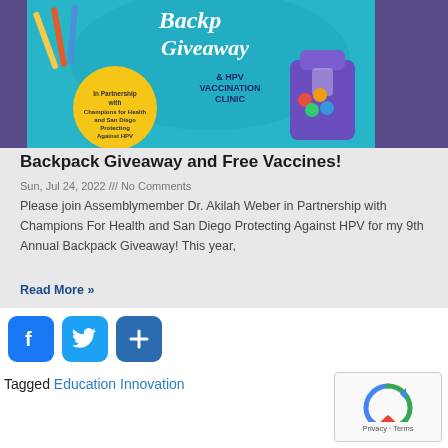[Figure (illustration): Backpack Giveaway and HPV Vaccination Clinic promotional banner image with pencils, a backpack, school supplies, teal background, and a yellow circular badge mentioning partnership with Champions for Health and San Diego Protecting Against HPV]
Backpack Giveaway and Free Vaccines!
Sun, Jul 24, 2022 /// No Comments
Please join Assemblymember Dr. Akilah Weber in Partnership with Champions For Health and San Diego Protecting Against HPV for my 9th Annual Backpack Giveaway! This year,
Read More »
Tagged Education Innovation